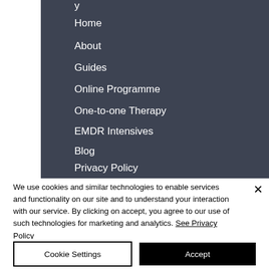Home
About
Guides
Online Programme
One-to-one Therapy
EMDR Intensives
Blog
Privacy Policy
We use cookies and similar technologies to enable services and functionality on our site and to understand your interaction with our service. By clicking on accept, you agree to our use of such technologies for marketing and analytics. See Privacy Policy
Cookie Settings
Accept